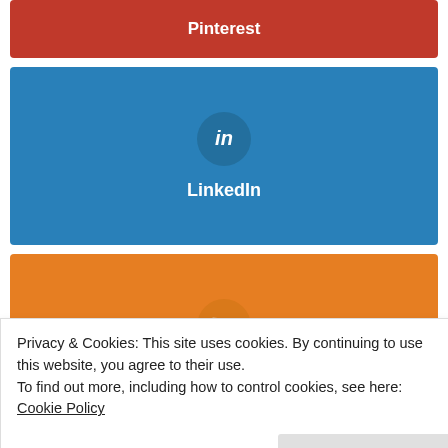[Figure (screenshot): Pinterest social share button (red background, white bold text 'Pinterest')]
[Figure (screenshot): LinkedIn social share button (blue background, circular icon with 'in', white bold text 'LinkedIn')]
[Figure (screenshot): RSS social share button (orange background, circular RSS icon, white bold text 'RSS')]
Interesting Posts
Hauptseite
Privacy & Cookies: This site uses cookies. By continuing to use this website, you agree to their use.
To find out more, including how to control cookies, see here: Cookie Policy
Close and accept
Prokes 4444 vs. Animation Codec for Screencasts